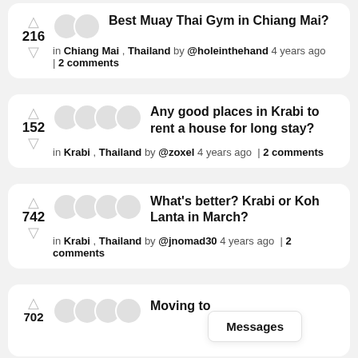216 | Best Muay Thai Gym in Chiang Mai? in Chiang Mai , Thailand by @holeinthehand 4 years ago | 2 comments
152 | Any good places in Krabi to rent a house for long stay? in Krabi , Thailand by @zoxel 4 years ago | 2 comments
742 | What's better? Krabi or Koh Lanta in March? in Krabi , Thailand by @jnomad30 4 years ago | 2 comments
702 | Moving to ... Messages